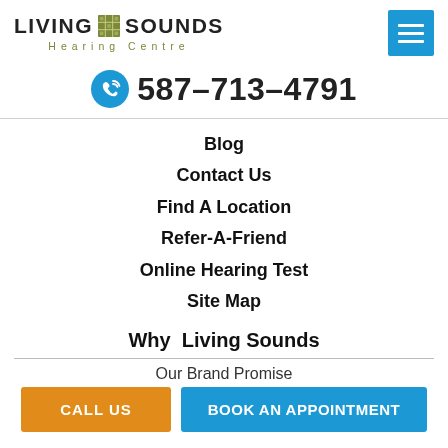[Figure (logo): Living Sounds Hearing Centre logo with green grid square icon between LIVING and SOUNDS text, and 'Hearing Centre' subtitle]
[Figure (other): Blue hamburger menu button with three white horizontal lines]
587-713-4791
Blog
Contact Us
Find A Location
Refer-A-Friend
Online Hearing Test
Site Map
Why  Living Sounds
Our Brand Promise
CALL US
BOOK AN APPOINTMENT